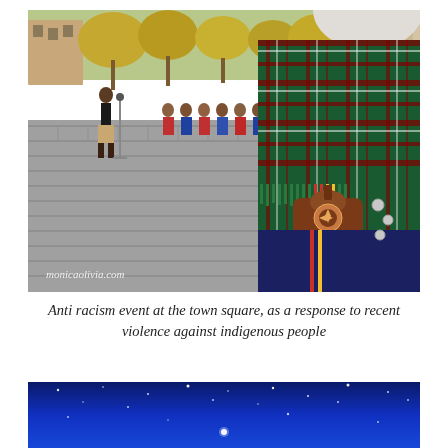[Figure (photo): Outdoor anti-racism event at a town square. A person stands at a microphone on the left, while a large group of people in traditional Sami indigenous clothing stand in a semicircle on the cobblestone square. Autumn trees and buildings visible in background. In the foreground right, a person wearing a green plaid tartan shawl with fringe and a decorative brown leather bag is visible from behind. A watermark reads 'monicaolivia.com' in the lower left.]
Anti racism event at the town square, as a response to recent violence against indigenous people
[Figure (photo): A deep blue night sky with small white stars visible. Gradient from dark navy to bright blue.]